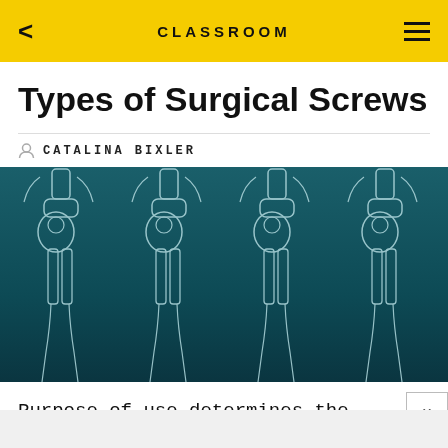CLASSROOM
Types of Surgical Screws
CATALINA BIXLER
[Figure (illustration): Repeating illustration of hip/pelvis skeleton X-ray style images on a dark teal gradient background, showing four hip joint skeletal figures side by side.]
Purpose of use determines the type of surgical screws selected for internal repair